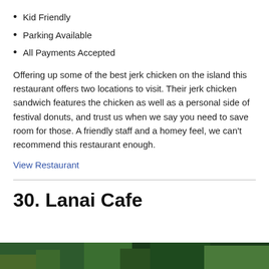Kid Friendly
Parking Available
All Payments Accepted
Offering up some of the best jerk chicken on the island this restaurant offers two locations to visit. Their jerk chicken sandwich features the chicken as well as a personal side of festival donuts, and trust us when we say you need to save room for those. A friendly staff and a homey feel, we can’t recommend this restaurant enough.
View Restaurant
30. Lanai Cafe
[Figure (photo): Partial photo of Lanai Cafe, showing greenery and outdoor scene at bottom of page]